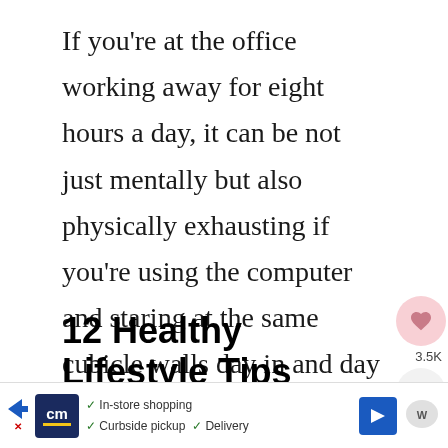If you're at the office working away for eight hours a day, it can be not just mentally but also physically exhausting if you're using the computer and staring at the same cubicle walls day in and day out.
12 Healthy Lifestyle Tips For Office Workers
To stay motivated and avoid
[Figure (other): Social share widget with heart/like button showing 3.5K and a share icon button]
[Figure (other): What's Next panel showing thumbnail and title '25 New Year's Goal Ideas F...']
[Figure (other): Advertisement banner with CM logo, checkmarks for In-store shopping, Curbside pickup, Delivery, navigation arrow icon]